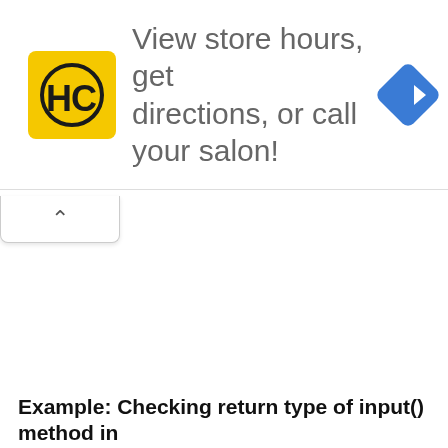[Figure (screenshot): Advertisement banner for a hair salon chain (HC logo in yellow square) with text 'View store hours, get directions, or call your salon!' and a blue navigation diamond icon on the right. Below the banner is a collapse/minimize tab with an upward chevron.]
Example: Checking return type of input() method in